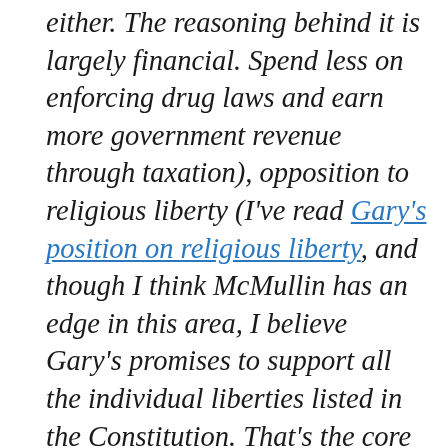either. The reasoning behind it is largely financial. Spend less on enforcing drug laws and earn more government revenue through taxation), opposition to religious liberty (I've read Gary's position on religious liberty, and though I think McMullin has an edge in this area, I believe Gary's promises to support all the individual liberties listed in the Constitution. That's the core of being libertarian—having liberty, letting people choose, getting the government out of decisions), and reckless national